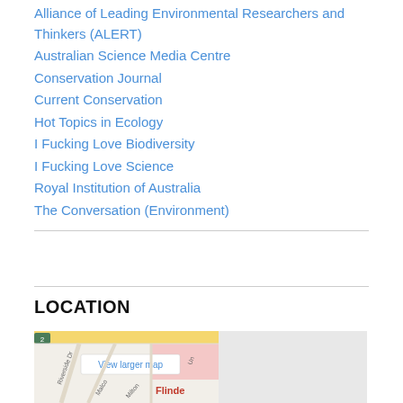Alliance of Leading Environmental Researchers and Thinkers (ALERT)
Australian Science Media Centre
Conservation Journal
Current Conservation
Hot Topics in Ecology
I Fucking Love Biodiversity
I Fucking Love Science
Royal Institution of Australia
The Conversation (Environment)
LOCATION
[Figure (map): Google Maps embed showing Flinders University area with Riverside Dr, Malcolm St, Milton Rd, and University labeled. A 'View larger map' button is visible in the upper left of the map.]